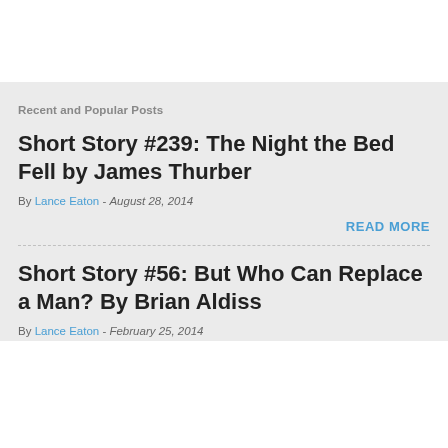Recent and Popular Posts
Short Story #239: The Night the Bed Fell by James Thurber
By Lance Eaton - August 28, 2014
READ MORE
Short Story #56: But Who Can Replace a Man? By Brian Aldiss
By Lance Eaton - February 25, 2014